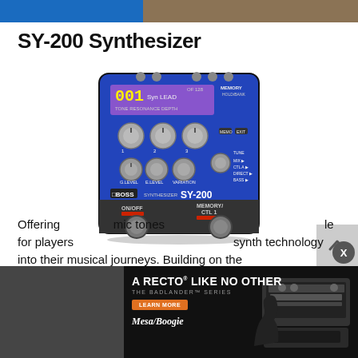[Figure (photo): Top banner image with blue section on left and wooden surface on right]
SY-200 Synthesizer
[Figure (photo): BOSS SY-200 Synthesizer pedal in blue color with knobs, display showing 001 Syn Lead, ON/OFF and MEMORY/CTL 1 footswitches]
[Figure (photo): Advertisement: A RECTO LIKE NO OTHER - THE BADLANDER SERIES by Mesa/Boogie, with amp image and Learn More button]
Offering ... mic tones ... le for players ... synth technology into their musical journeys. Building on the